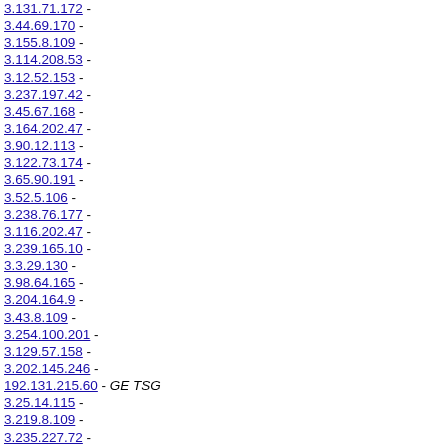3.131.71.172 -
3.44.69.170 -
3.155.8.109 -
3.114.208.53 -
3.12.52.153 -
3.237.197.42 -
3.45.67.168 -
3.164.202.47 -
3.90.12.113 -
3.122.73.174 -
3.65.90.191 -
3.52.5.106 -
3.238.76.177 -
3.116.202.47 -
3.239.165.10 -
3.3.29.130 -
3.98.64.165 -
3.204.164.9 -
3.43.8.109 -
3.254.100.201 -
3.129.57.158 -
3.202.145.246 -
192.131.215.60 - GE TSG
3.25.14.115 -
3.219.8.109 -
3.235.227.72 -
3.49.234.79 -
3.151.224.69 -
3.184.129.230 -
3.122.78.179 -
3.105.71.172 -